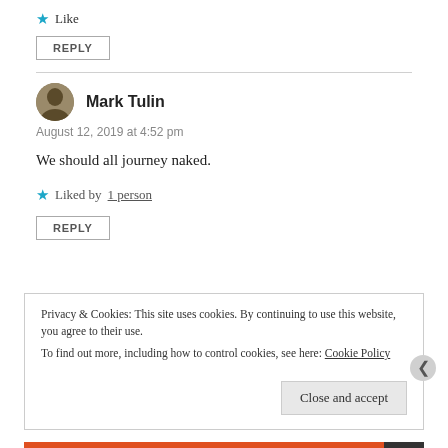★ Like
REPLY
Mark Tulin
August 12, 2019 at 4:52 pm
We should all journey naked.
★ Liked by 1 person
REPLY
Privacy & Cookies: This site uses cookies. By continuing to use this website, you agree to their use.
To find out more, including how to control cookies, see here: Cookie Policy
Close and accept